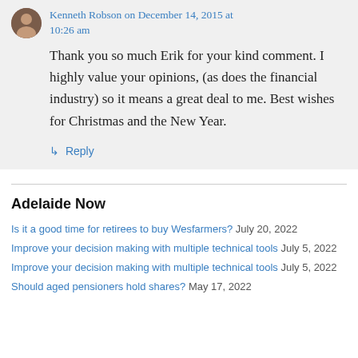Kenneth Robson on December 14, 2015 at 10:26 am
Thank you so much Erik for your kind comment. I highly value your opinions, (as does the financial industry) so it means a great deal to me. Best wishes for Christmas and the New Year.
↳ Reply
Adelaide Now
Is it a good time for retirees to buy Wesfarmers? July 20, 2022
Improve your decision making with multiple technical tools July 5, 2022
Improve your decision making with multiple technical tools July 5, 2022
Should aged pensioners hold shares? May 17, 2022